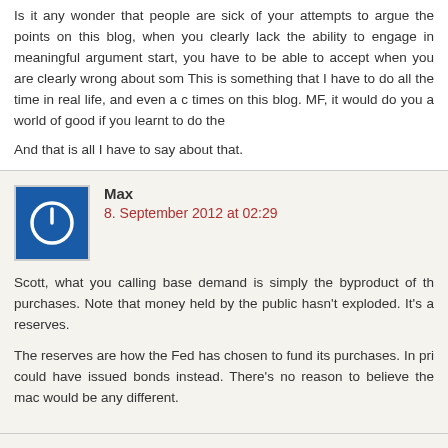Is it any wonder that people are sick of your attempts to argue the points on this blog, when you clearly lack the ability to engage in meaningful arguments? To start, you have to be able to accept when you are clearly wrong about something. This is something that I have to do all the time in real life, and even a couple of times on this blog. MF, it would do you a world of good if you learnt to do the same.
And that is all I have to say about that.
Max
8. September 2012 at 02:29
Scott, what you calling base demand is simply the byproduct of the Fed's purchases. Note that money held by the public hasn't exploded. It's all excess reserves.
The reserves are how the Fed has chosen to fund its purchases. In principle they could have issued bonds instead. There's no reason to believe the macro outcome would be any different.
RebelEconomist
8. September 2012 at 07:10
[Figure (other): Advertisement banner for Direxion with blue background, figure illustration, and Learn More button]